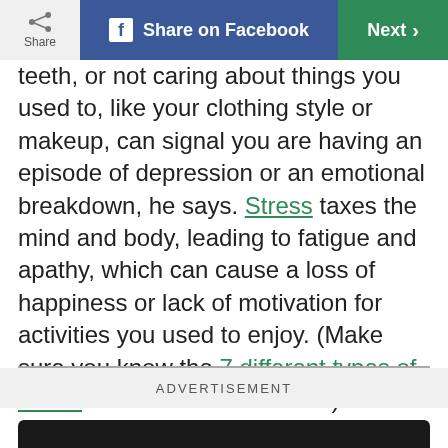Share | Share on Facebook | Next >
teeth, or not caring about things you used to, like your clothing style or makeup, can signal you are having an episode of depression or an emotional breakdown, he says. Stress taxes the mind and body, leading to fatigue and apathy, which can cause a loss of happiness or lack of motivation for activities you used to enjoy. (Make sure you know the 7 different types of stress and how to ease them.)
ADVERTISEMENT